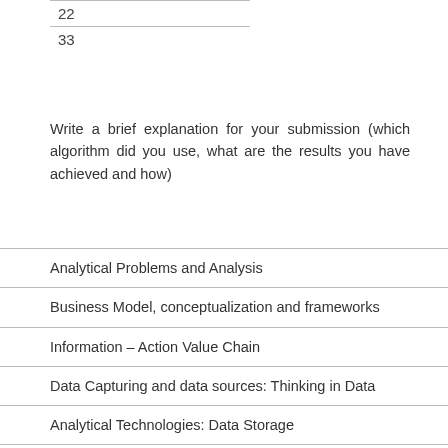| 22 |
| 33 |
Write a brief explanation for your submission (which algorithm did you use, what are the results you have achieved and how)
Analytical Problems and Analysis
Business Model, conceptualization and frameworks
Information – Action Value Chain
Data Capturing and data sources: Thinking in Data
Analytical Technologies: Data Storage
Analytical Technologies: Big Data, Cloud and Evolution of Web
Analytical Technologies: Relational Databases
Analytical Technologies: Virtualization, In Memory and